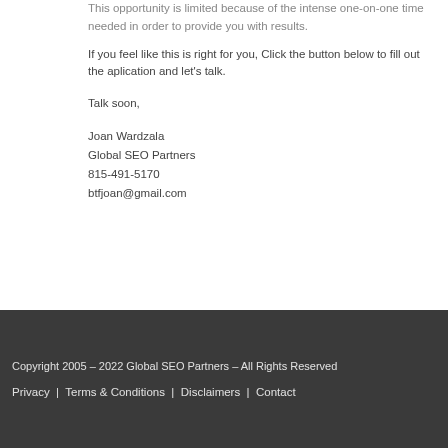This opportunity is limited because of the intense one-on-one time needed in order to provide you with results.
If you feel like this is right for you, Click the button below to fill out the aplication and let's talk.
Talk soon,
Joan Wardzala
Global SEO Partners
815-491-5170
btfjoan@gmail.com
Copyright 2005 – 2022 Global SEO Partners – All Rights Reserved
Privacy | Terms & Conditions | Disclaimers | Contact